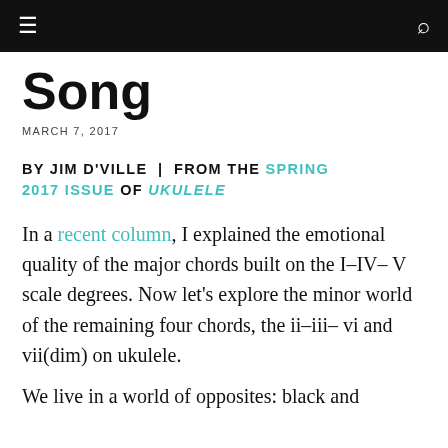≡  🔍
Song
MARCH 7, 2017
BY JIM D'VILLE | FROM THE SPRING 2017 ISSUE OF UKULELE
In a recent column, I explained the emotional quality of the major chords built on the I–IV–V scale degrees. Now let's explore the minor world of the remaining four chords, the ii–iii–vi and vii(dim) on ukulele.
We live in a world of opposites: black and